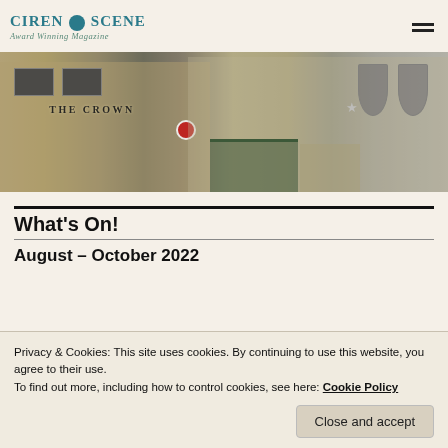CIREN SCENE Award Winning Magazine
[Figure (photo): Street scene showing The Crown pub and other shopfronts in what appears to be Cirencester town centre]
What's On!
August – October 2022
Privacy & Cookies: This site uses cookies. By continuing to use this website, you agree to their use.
To find out more, including how to control cookies, see here: Cookie Policy
listings to local charities, local community fund